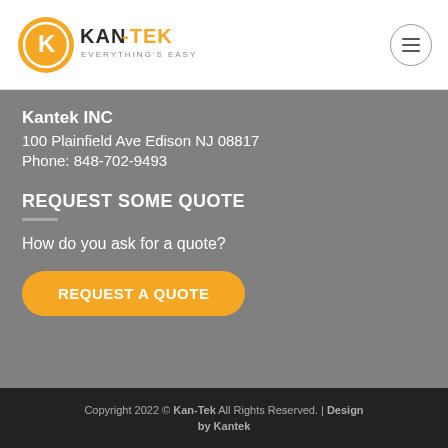[Figure (logo): Kan-Tek logo with orange circular K icon and text 'KAN-TEK EVERYTHING'S EASY']
Kantek INC
100 Plainfield Ave Edison NJ 08817
Phone: 848-702-9493
REQUEST SOME QUOTE
How do you ask for a quote?
REQUEST A QUOTE
Copyright 2022 © Kan-Tek All Rights Reserved. | Design by Kantek